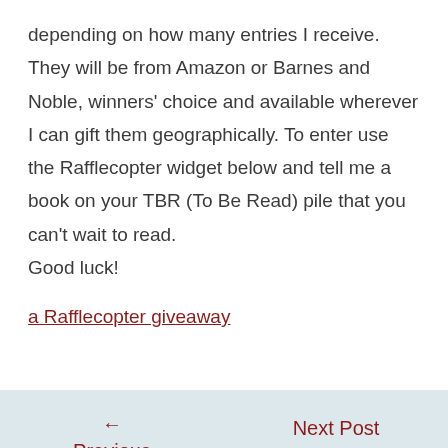depending on how many entries I receive. They will be from Amazon or Barnes and Noble, winners' choice and available wherever I can gift them geographically. To enter use the Rafflecopter widget below and tell me a book on your TBR (To Be Read) pile that you can't wait to read.
Good luck!
a Rafflecopter giveaway
← Previous Post
Next Post →